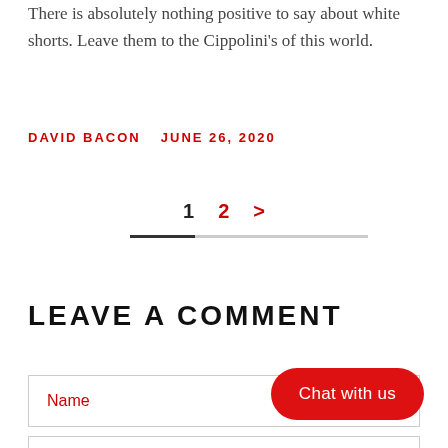There is absolutely nothing positive to say about white shorts. Leave them to the Cippolini's of this world.
DAVID BACON   JUNE 26, 2020
1  2  >
LEAVE A COMMENT
Name
Chat with us